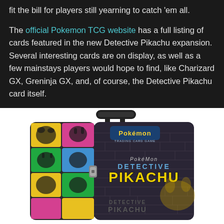fit the bill for players still yearning to catch 'em all.
The official Pokemon TCG website has a full listing of cards featured in the new Detective Pikachu expansion. Several interesting cards are on display, as well as a few mainstays players would hope to find, like Charizard GX, Greninja GX, and, of course, the Detective Pikachu card itself.
[Figure (photo): A Pokemon Detective Pikachu Trading Card Game collector tin/lunchbox with a handle. The left side shows colorful Pokemon silhouette panels in yellow, pink, and green. The right side has a dark brick pattern with the Pokemon logo, 'Trading Card Game' text, and 'Pokemon Detective Pikachu' branding in yellow and blue letters.]